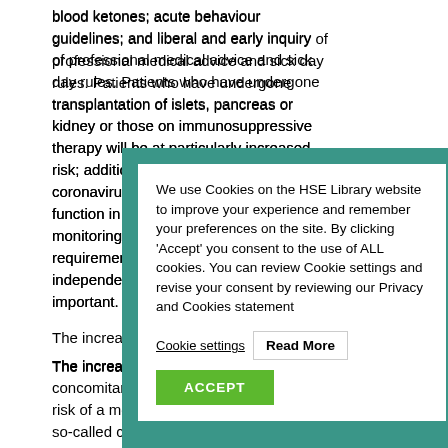blood ketones; acute behaviour guidelines; and liberal and early inquiry of professional medical advice and sick day rules. Patients who have undergone transplantation of islets, pancreas or kidney or those on immunosuppressive therapy will be at particularly increased risk; additionally, the potential effect of coronavirus infection on pancreatic function in this group is unknown and monitoring for a recurrence of insulin requirement in those who are insulin independent after their transplant is important.
The increasing number of people with diabetes and concomitant fatty liver disease (NAFLD) may be at particular risk of a more pronounced inflammatory response such as the so-called cytokine storm. Additionally, people with T1D have increased risk of severe COVID-19 infection and biomarkers for hyperinflammatory states including very elevated serum ferritin, decreasing platelet count, increased D-dimer protein or erythrocyte sedimentation rate (ESR) are of importance and may indicate those with T1D and COVID-19 for whom immunomodulatory treatment options such as selective cytokine blockade (e.g. JAK inhibitors) may...
The majority of patients with diabetes have co-morbid conditions of overweight or obesity. Obesity is an important determinant of sleep disordered breathing and oxygenation during sleep, as well as impaired ventilation in supine position. Therefore, patients with obesity and diabetes
[Figure (screenshot): Cookie consent popup overlay on a teal/green background with white card. Text reads: 'We use Cookies on the HSE Library website to improve your experience and remember your preferences on the site. By clicking Accept you consent to the use of ALL cookies. You can review Cookie settings and revise your consent by reviewing our Privacy and Cookies statement'. Buttons: 'Cookie settings' (underlined), 'Read More' (white button), and 'ACCEPT' (green button).]